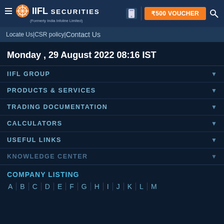IIFL Securities (Formerly India Infoline Limited) — ₹500 VOUCHER
Locate Us | CSR policy | Contact Us
Monday , 29 August 2022 08:16 IST
IIFL GROUP
PRODUCTS & SERVICES
TRADING DOCUMENTATION
CALCULATORS
USEFUL LINKS
KNOWLEDGE CENTER
COMPANY LISTING
A | B | C | D | E | F | G | H | I | J | K | L | M